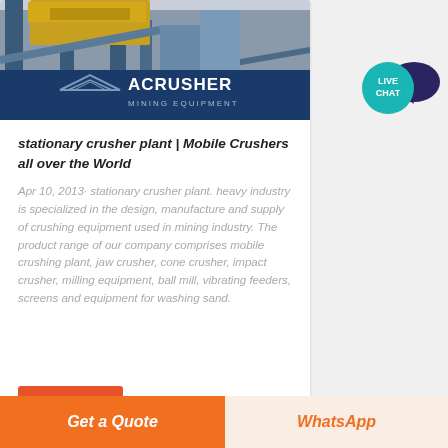[Figure (photo): Mining/crushing equipment machinery (blue steel structures) with ACRUSHER Mining Equipment logo overlay at bottom]
stationary crusher plant | Mobile Crushers all over the World
Apr 10, 2013· stationary crusher plant. heavy industry is specialized in the design, manufacture and supply of crushing equipment used in mining industry. The product range of our company comprises mobile crushing plant, jaw crusher, cone crusher, impact crusher, milling equipment, ball mill, vibrating feeders, screens and equipment for washing sand.
[Figure (logo): LIVE CHAT speech bubble icon — teal circle with white text LIVE CHAT and dark navy speech bubble]
Get Price
Get a Quote
WhatsApp